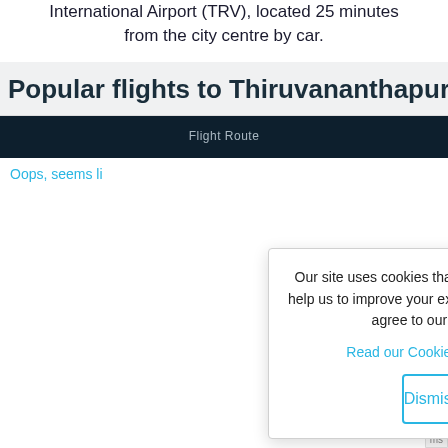International Airport (TRV), located 25 minutes from the city centre by car.
Popular flights to Thiruvananthapuram
Flight Route
Oops, seems li...
Our site uses cookies that are essential, while others help us to improve your experience. By continuing, you agree to our use of cookies.
Read our Cookie and Privacy Policy
Dismiss
Got it!